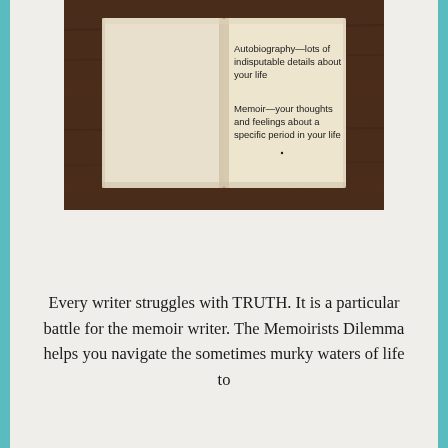[Figure (photo): An open notebook/journal on a wooden surface showing two definitions: 'Autobiography—lots of indisputable details about your life' and 'Memoir—your thoughts and feelings about a specific period in your life']
Every writer struggles with TRUTH. It is a particular battle for the memoir writer. The Memoirists Dilemma helps you navigate the sometimes murky waters of life to